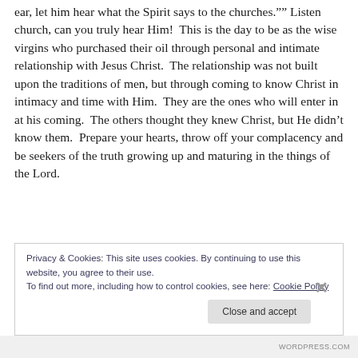ear, let him hear what the Spirit says to the churches."" Listen church, can you truly hear Him!  This is the day to be as the wise virgins who purchased their oil through personal and intimate relationship with Jesus Christ.  The relationship was not built upon the traditions of men, but through coming to know Christ in intimacy and time with Him.  They are the ones who will enter in at his coming.  The others thought they knew Christ, but He didn't know them.  Prepare your hearts, throw off your complacency and be seekers of the truth growing up and maturing in the things of the Lord.
Privacy & Cookies: This site uses cookies. By continuing to use this website, you agree to their use.
To find out more, including how to control cookies, see here: Cookie Policy
Close and accept
WORDPRESS.COM